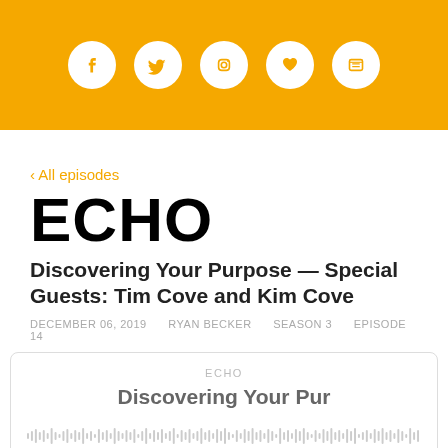[Figure (infographic): Orange header bar with five white circular social media icons: Facebook, Twitter, Instagram, heart/love, and a browser/reader icon]
‹ All episodes
ECHO
Discovering Your Purpose — Special Guests: Tim Cove and Kim Cove
DECEMBER 06, 2019   RYAN BECKER   SEASON 3   EPISODE 14
[Figure (screenshot): Podcast player card showing ECHO label, episode title 'Discovering Your Pur...' partially visible, and an audio waveform scrubber at the bottom]